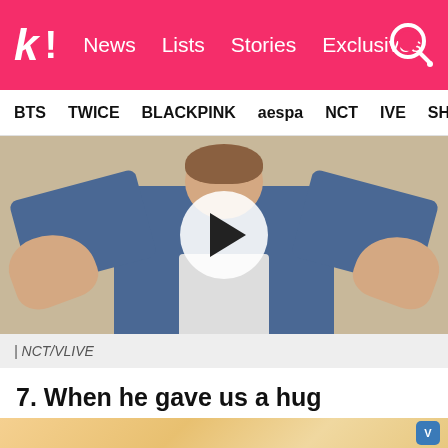k! News Lists Stories Exclusives
BTS TWICE BLACKPINK aespa NCT IVE SHIN…
[Figure (photo): A person in a denim jacket with arms raised and hands open in a shrugging or hugging gesture, with a video play button overlay. Caption: | NCT/VLIVE]
| NCT/VLIVE
7. When he gave us a hug
Who else can say they've been bro-hugged by their idol?
[Figure (photo): Partial bottom image strip showing blonde hair, partially cut off at page bottom]